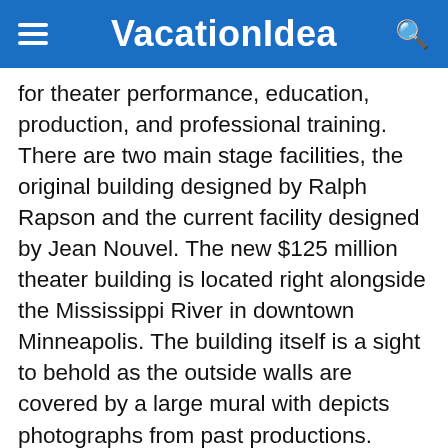VacationIdea
for theater performance, education, production, and professional training. There are two main stage facilities, the original building designed by Ralph Rapson and the current facility designed by Jean Nouvel. The new $125 million theater building is located right alongside the Mississippi River in downtown Minneapolis. The building itself is a sight to behold as the outside walls are covered by a large mural with depicts photographs from past productions. Some of the productions visitors can attend are Sense and Sensibility, A Christmas Carol, King Lear, and Sunday in the Park with George.
818 S 2nd St, Minneapolis, MN 55415, 612-377-